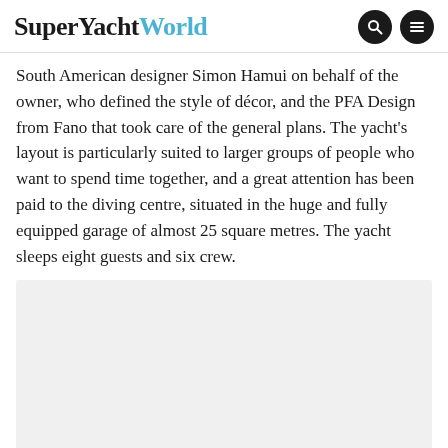SuperYachtWorld
South American designer Simon Hamui on behalf of the owner, who defined the style of décor, and the PFA Design from Fano that took care of the general plans. The yacht's layout is particularly suited to larger groups of people who want to spend time together, and a great attention has been paid to the diving centre, situated in the huge and fully equipped garage of almost 25 square metres. The yacht sleeps eight guests and six crew.
[Figure (photo): Photo placeholder area, light grey background, content not visible]